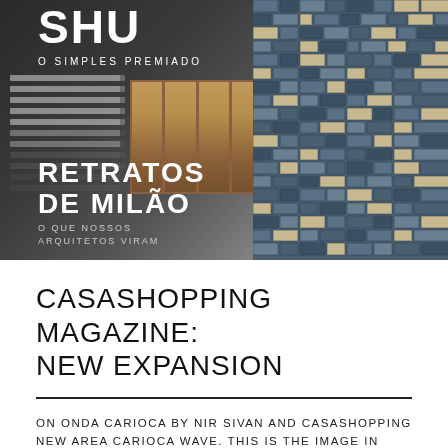[Figure (photo): Magazine cover showing a dark architectural background on the left with 'SHU O SIMPLES PREMIADO' text and 'RETRATOS DE MILÃO O QUE NOSSOS ARQUITETOS VIRAM' text overlay, wood-framed windows in center, and a blue tiled building facade on the right.]
CASASHOPPING MAGAZINE: NEW EXPANSION
ON ONDA CARIOCA BY NIR SIVAN AND CASASHOPPING NEW AREA CARIOCA WAVE. THIS IS THE IMAGE IN MIND